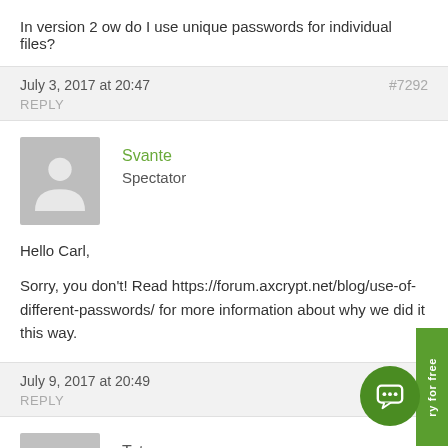In version 2 ow do I use unique passwords for individual files?
July 3, 2017 at 20:47
#7292
REPLY
Svante
Spectator
Hello Carl,
Sorry, you don't! Read https://forum.axcrypt.net/blog/use-of-different-passwords/ for more information about why we did it this way.
July 9, 2017 at 20:49
REPLY
Totoz